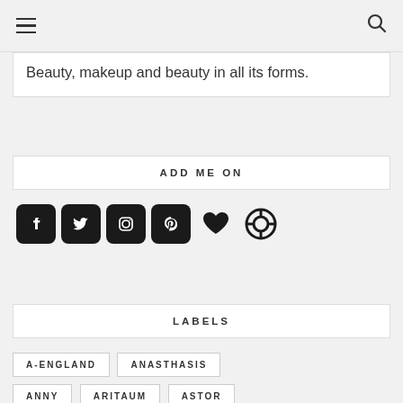[hamburger menu] [search icon]
Beauty, makeup and beauty in all its forms.
ADD ME ON
[Figure (other): Social media icons: Facebook, Twitter, Instagram, Pinterest, Heart (Bloglovin), Lifesaver (support)]
LABELS
A-ENGLAND
ANASTHASIS
ANNY
ARITAUM
ASTOR
BURT'S BEES
BUTTER LONDON